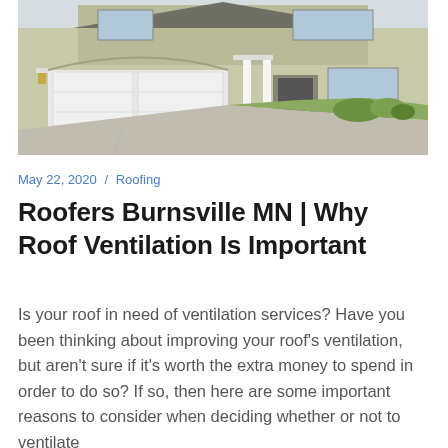[Figure (photo): Exterior photo of a suburban two-story home with a large two-car garage, concrete driveway, front porch with white columns, and green lawn.]
May 22, 2020 / Roofing
Roofers Burnsville MN | Why Roof Ventilation Is Important
Is your roof in need of ventilation services? Have you been thinking about improving your roof's ventilation, but aren't sure if it's worth the extra money to spend in order to do so? If so, then here are some important reasons to consider when deciding whether or not to ventilate...